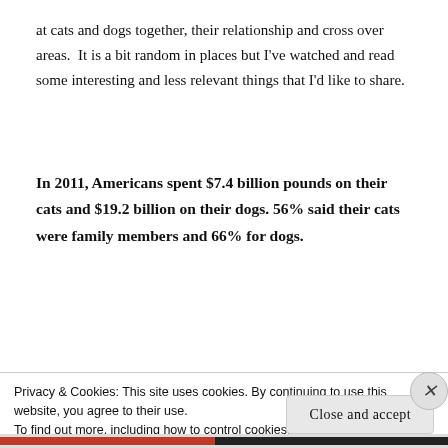at cats and dogs together, their relationship and cross over areas.  It is a bit random in places but I've watched and read some interesting and less relevant things that I'd like to share.
In 2011, Americans spent $7.4 billion pounds on their cats and $19.2 billion on their dogs. 56% said their cats were family members and 66% for dogs.
[Figure (photo): Partial image strip showing cats and dogs, partially obscured by cookie banner]
Privacy & Cookies: This site uses cookies. By continuing to use this website, you agree to their use.
To find out more, including how to control cookies, see here: Cookie Policy